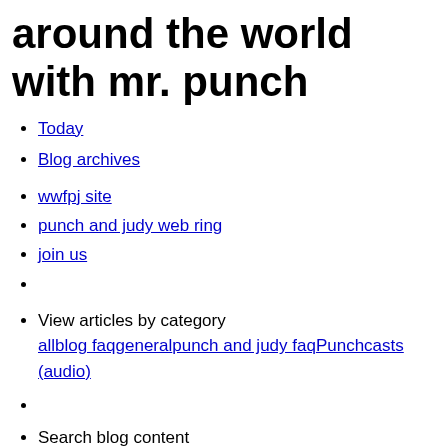around the world with mr. punch
Today
Blog archives
wwfpj site
punch and judy web ring
join us
View articles by category all blog faq general punch and judy faq Punchcasts (audio)
Search blog content [search input] [Search button]
admin only